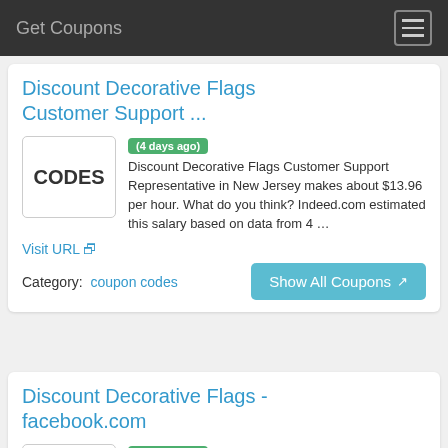Get Coupons
Discount Decorative Flags Customer Support ...
[Figure (other): CODES placeholder image box]
(4 days ago) Discount Decorative Flags Customer Support Representative in New Jersey makes about $13.96 per hour. What do you think? Indeed.com estimated this salary based on data from 4 …
Visit URL
Category:  coupon codes
Show All Coupons
Discount Decorative Flags - facebook.com
[Figure (other): CODES placeholder image box]
(7 days ago) Pattie Dwyer recommends Discount Decorative Flags. July 27 at 12:53 · Nia…